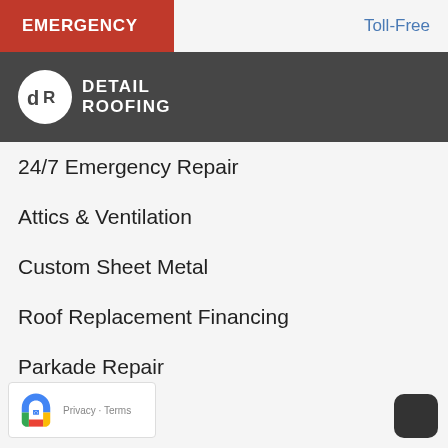EMERGENCY   Toll-Free
[Figure (logo): Detail Roofing company logo: white circle with 'dR' monogram in dark, beside text 'DETAIL ROOFING' in white on dark background header bar]
24/7 Emergency Repair
Attics & Ventilation
Custom Sheet Metal
Roof Replacement Financing
Parkade Repair
Birds / Pests